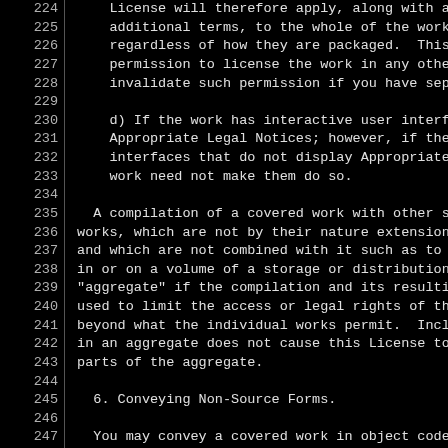Lines 224-253 from GPL license text (source code viewer). Lines cover: License will therefore apply, along with additional terms...; d) If the work has interactive user interfaces...; A compilation of a covered work with other separate works...; 6. Conveying Non-Source Forms.; You may convey a covered work in object code...; a) Convey the object code in, or embodied in...